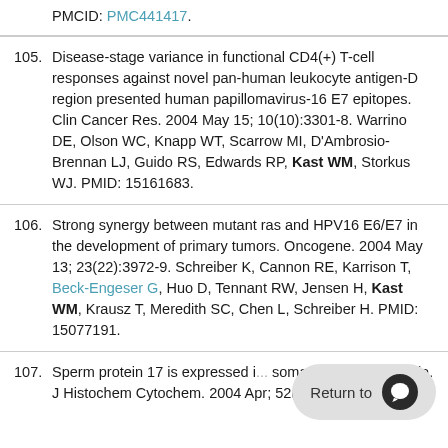PMCID: PMC441417.
105. Disease-stage variance in functional CD4(+) T-cell responses against novel pan-human leukocyte antigen-D region presented human papillomavirus-16 E7 epitopes. Clin Cancer Res. 2004 May 15; 10(10):3301-8. Warrino DE, Olson WC, Knapp WT, Scarrow MI, D'Ambrosio-Brennan LJ, Guido RS, Edwards RP, Kast WM, Storkus WJ. PMID: 15161683.
106. Strong synergy between mutant ras and HPV16 E6/E7 in the development of primary tumors. Oncogene. 2004 May 13; 23(22):3972-9. Schreiber K, Cannon RE, Karrison T, Beck-Engeser G, Huo D, Tennant RW, Jensen H, Kast WM, Krausz T, Meredith SC, Chen L, Schreiber H. PMID: 15077191.
107. Sperm protein 17 is expressed i... somatic ciliated epithelia. J Histochem Cytochem. 2004 Apr; 52(4):549-54. Grizzi F...